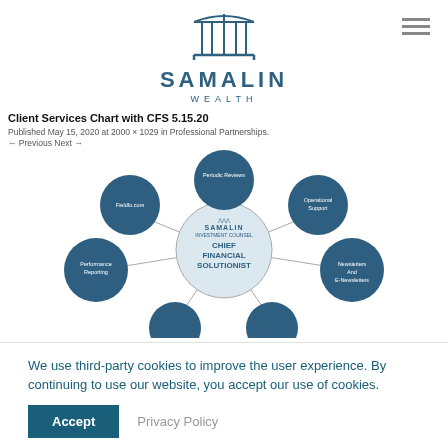[Figure (logo): Samalin Wealth logo with bridge icon, company name SAMALIN and WEALTH below]
Client Services Chart with CFS 5.15.20
Published May 15, 2020 at 2000 × 1029 in Professional Partnerships.
← Previous Next →
[Figure (infographic): Organizational diagram showing Samalin Investment Counsel Chief Financial Solutionist at center surrounded by circles: Periodic Reviews, Operational Support, Newsletters And E-Newsletters, Performance Reporting, Fieldfo.com]
We use third-party cookies to improve the user experience. By continuing to use our website, you accept our use of cookies.
Accept   Privacy Policy